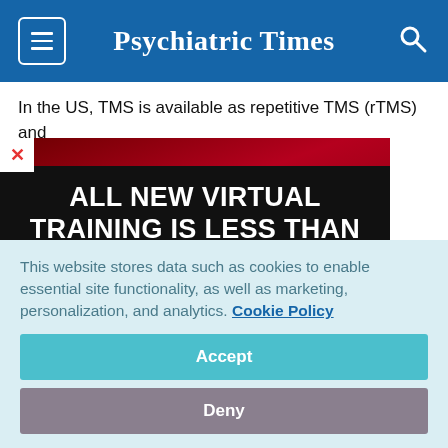Psychiatric Times
In the US, TMS is available as repetitive TMS (rTMS) and ... cy has been ... lult populations, ... r older adults. ... but excluded the ... dical comorbidity. ... er age might be a ...
[Figure (infographic): Advertisement overlay with red background and black section. Text reads: 'ALL NEW VIRTUAL TRAINING IS LESS THAN TWO WEEKS AWAY!' with subtext 'Join your colleagues!' A close/X button appears in the top-left corner.]
This website stores data such as cookies to enable essential site functionality, as well as marketing, personalization, and analytics. Cookie Policy
Accept
Deny